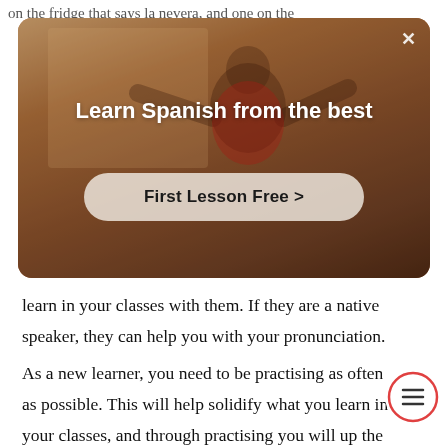on the fridge that says la nevera, and one on the
[Figure (screenshot): Advertisement banner showing a person in a room with text 'Learn Spanish from the best' and a 'First Lesson Free >' button. Has a close X button in top right corner.]
learn in your classes with them. If they are a native speaker, they can help you with your pronunciation.
As a new learner, you need to be practising as often as possible. This will help solidify what you learn in your classes, and through practising you will up the patterns in the sentence structure and grammar.